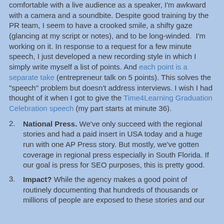comfortable with a live audience as a speaker, I'm awkward with a camera and a soundbite. Despite good training by the PR team, I seem to have a crooked smile, a shifty gaze (glancing at my script or notes), and to be long-winded. I'm working on it. In response to a request for a few minute speech, I just developed a new recording style in which I simply write myself a list of points. And each point is a separate take (entrepreneur talk on 5 points). This solves the "speech" problem but doesn't address interviews. I wish I had thought of it when I got to give the Time4Learning Graduation Celebration speech (my part starts at minute 36).
2. National Press. We've only succeed with the regional stories and had a paid insert in USA today and a huge run with one AP Press story. But mostly, we've gotten coverage in regional press especially in South Florida. If our goal is press for SEO purposes, this is pretty good.
3. Impact? While the agency makes a good point of routinely documenting that hundreds of thousands or millions of people are exposed to these stories and our